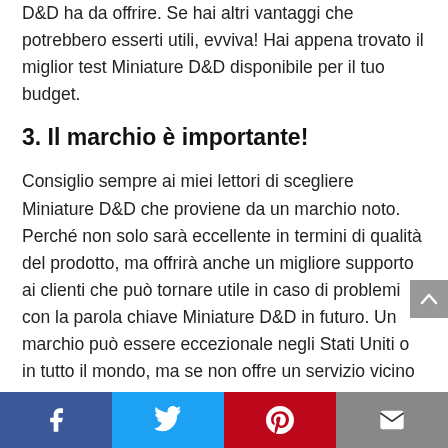D&D ha da offrire. Se hai altri vantaggi che potrebbero esserti utili, evviva! Hai appena trovato il miglior test Miniature D&D disponibile per il tuo budget.
3. Il marchio è importante!
Consiglio sempre ai miei lettori di scegliere Miniature D&D che proviene da un marchio noto. Perché non solo sarà eccellente in termini di qualità del prodotto, ma offrirà anche un migliore supporto ai clienti che può tornare utile in caso di problemi con la parola chiave Miniature D&D in futuro. Un marchio può essere eccezionale negli Stati Uniti o in tutto il mondo, ma se non offre un servizio vicino
Facebook | Twitter | Pinterest | Email